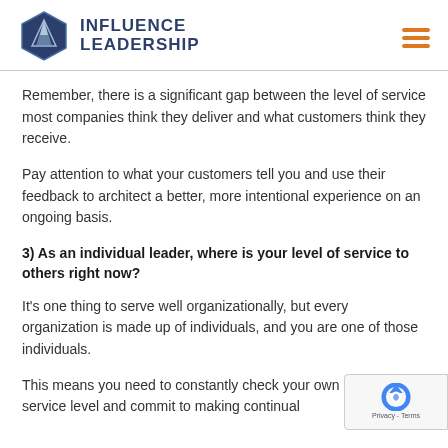INFLUENCE LEADERSHIP
Remember, there is a significant gap between the level of service most companies think they deliver and what customers think they receive.
Pay attention to what your customers tell you and use their feedback to architect a better, more intentional experience on an ongoing basis.
3) As an individual leader, where is your level of service to others right now?
It's one thing to serve well organizationally, but every organization is made up of individuals, and you are one of those individuals.
This means you need to constantly check your own service level and commit to making continual